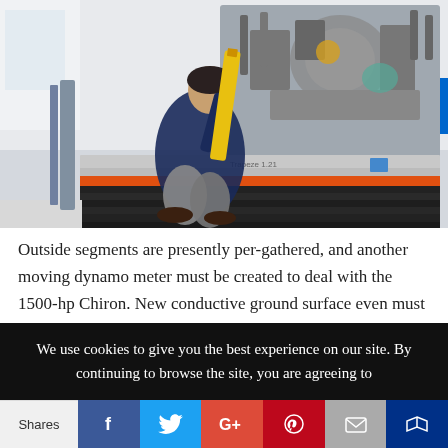[Figure (photo): A person crouching and working on a large engine mounted on a test stand/dynamometer in a workshop or laboratory setting. The engine has complex components visible. The test stand has orange and black coloring at its base.]
Outside segments are presently per-gathered, and another moving dynamo meter must be created to deal with the 1500-hp Chiron. New conductive ground surface even must be created to permit scattering of any
We use cookies to give you the best experience on our site. By continuing to browse the site, you are agreeing to